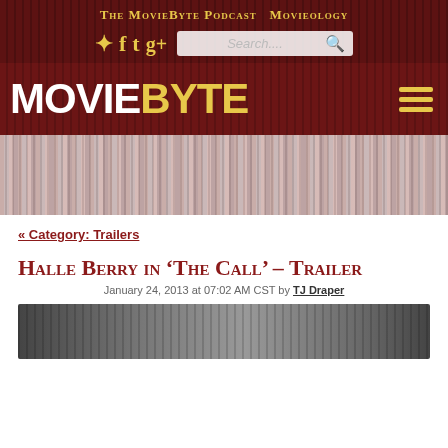The MovieByte Podcast Movieology
[Figure (screenshot): Social media icons: RSS, Facebook, Twitter, Google+ and a search box]
[Figure (logo): MovieByte logo in white and yellow on dark red background with hamburger menu icon]
[Figure (photo): Dark red curtain/hero banner background]
« Category: Trailers
Halle Berry in 'The Call' – Trailer
January 24, 2013 at 07:02 AM CST by TJ Draper
[Figure (photo): Partially visible thumbnail image at bottom of page]